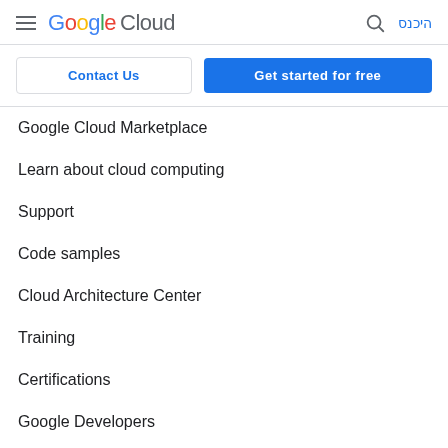Google Cloud — היכנס
Contact Us
Get started for free
Google Cloud Marketplace
Learn about cloud computing
Support
Code samples
Cloud Architecture Center
Training
Certifications
Google Developers
Google Cloud for Startups
System status
Release Notes